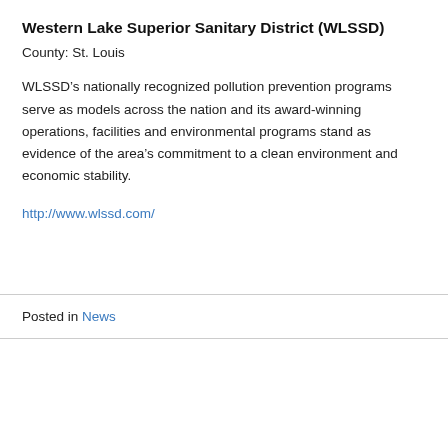Western Lake Superior Sanitary District (WLSSD)
County: St. Louis
WLSSD’s nationally recognized pollution prevention programs serve as models across the nation and its award-winning operations, facilities and environmental programs stand as evidence of the area’s commitment to a clean environment and economic stability.
http://www.wlssd.com/
Posted in News